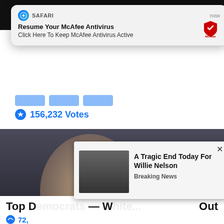[Figure (screenshot): Safari browser notification popup for McAfee Antivirus with McAfee shield logo icon]
156,232 Votes
[Figure (photo): Dark photo of a woman (Hillary Clinton) with a play button overlay in the center]
Top D[emocrats] — W[hite House?] Out
72,[000+ Votes]
[Figure (screenshot): Ad popup with photo of Willie Nelson and headline 'A Tragic End Today For Willie Nelson' with 'Breaking News' subtext and X close button]